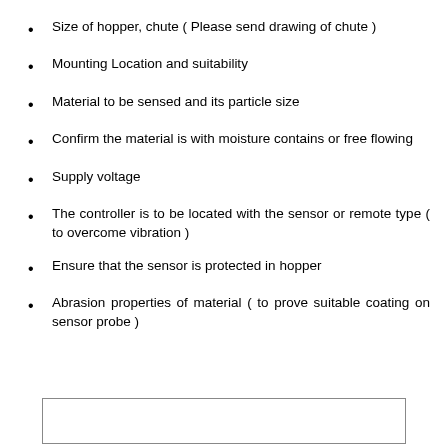Size of hopper, chute ( Please send drawing of chute )
Mounting Location and suitability
Material to be sensed and its particle size
Confirm the material is with moisture contains or free flowing
Supply voltage
The controller is to be located with the sensor or remote type ( to overcome vibration )
Ensure that the sensor is protected in hopper
Abrasion properties of material ( to prove suitable coating on sensor probe )